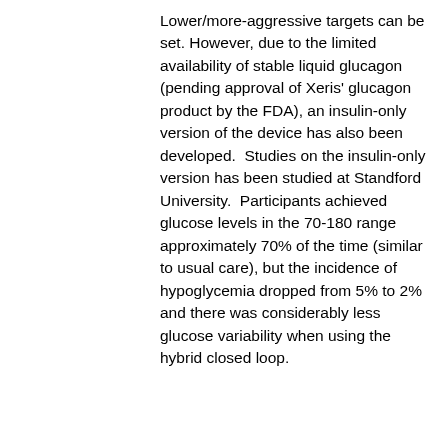Lower/more-aggressive targets can be set. However, due to the limited availability of stable liquid glucagon (pending approval of Xeris' glucagon product by the FDA), an insulin-only version of the device has also been developed.  Studies on the insulin-only version has been studied at Standford University.  Participants achieved glucose levels in the 70-180 range approximately 70% of the time (similar to usual care), but the incidence of hypoglycemia dropped from 5% to 2% and there was considerably less glucose variability when using the hybrid closed loop.